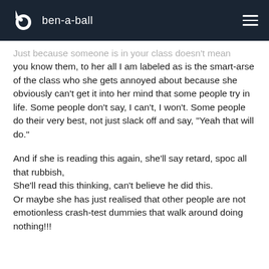ben-a-ball
Just because someone is in your class doesn't mean you know them, to her all I am labeled as is the smart-arse of the class who she gets annoyed about because she obviously can't get it into her mind that some people try in life. Some people don't say, I can't, I won't. Some people do their very best, not just slack off and say, "Yeah that will do."
And if she is reading this again, she'll say retard, spoc all that rubbish,
She'll read this thinking, can't believe he did this.
Or maybe she has just realised that other people are not emotionless crash-test dummies that walk around doing nothing!!!